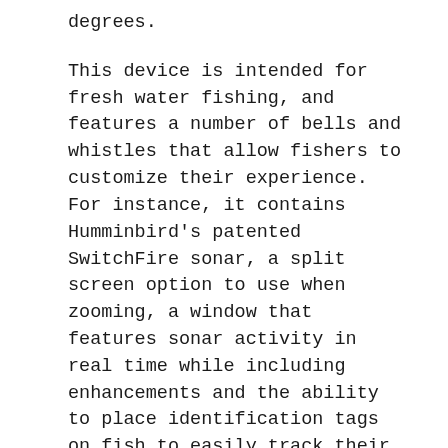degrees.
This device is intended for fresh water fishing, and features a number of bells and whistles that allow fishers to customize their experience. For instance, it contains Humminbird's patented SwitchFire sonar, a split screen option to use when zooming, a window that features sonar activity in real time while including enhancements and the ability to place identification tags on fish to easily track their movements. The 561 DI unit itself is lightweight, weighing in at a little more than 3 pounds. Its dimensions are 4 inches long, 7.25 inches wide and 7 inches high.
Buyers on the web have been overall positive when reviewing the 561 DI, writing highly of the features and capabilities of the device. They mainly mention the device's excellent value, as it's one of the more